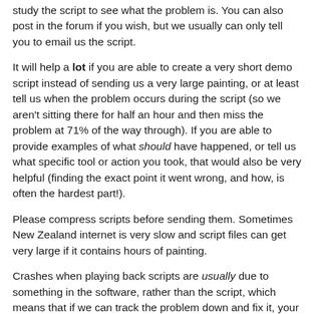study the script to see what the problem is. You can also post in the forum if you wish, but we usually can only tell you to email us the script.
It will help a lot if you are able to create a very short demo script instead of sending us a very large painting, or at least tell us when the problem occurs during the script (so we aren't sitting there for half an hour and then miss the problem at 71% of the way through). If you are able to provide examples of what should have happened, or tell us what specific tool or action you took, that would also be very helpful (finding the exact point it went wrong, and how, is often the hardest part!).
Please compress scripts before sending them. Sometimes New Zealand internet is very slow and script files can get very large if it contains hours of painting.
Crashes when playing back scripts are usually due to something in the software, rather than the script, which means that if we can track the problem down and fix it, your script will probably play back without problems after that. Script related bug fixes are rolled out on an ongoing basis in updates.